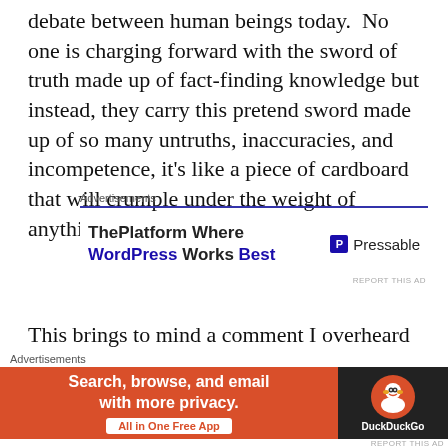debate between human beings today.  No one is charging forward with the sword of truth made up of fact-finding knowledge but instead, they carry this pretend sword made up of so many untruths, inaccuracies, and incompetence, it's like a piece of cardboard that will crumple under the weight of anything it hits.  The truth always hits hard.
[Figure (infographic): Advertisements block with 'ThePlatform Where WordPress Works Best' and Pressable logo on blue background]
This brings to mind a comment I overheard this past weekend during the Sugar Art Show.  This event is
[Figure (infographic): DuckDuckGo advertisement: 'Search, browse, and email with more privacy. All in One Free App' on orange background with DuckDuckGo logo]